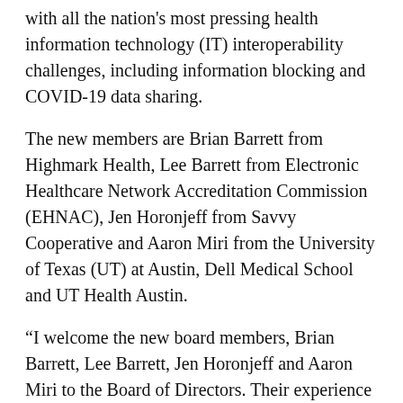with all the nation's most pressing health information technology (IT) interoperability challenges, including information blocking and COVID-19 data sharing.
The new members are Brian Barrett from Highmark Health, Lee Barrett from Electronic Healthcare Network Accreditation Commission (EHNAC), Jen Horonjeff from Savvy Cooperative and Aaron Miri from the University of Texas (UT) at Austin, Dell Medical School and UT Health Austin.
“I welcome the new board members, Brian Barrett, Lee Barrett, Jen Horonjeff and Aaron Miri to the Board of Directors. Their experience and views will be beneficial for The Sequoia Project in the upcoming years,” said Mariann Yeager, chief executive officer of The Sequoia Project. “We are so grateful for the leadership and expertise of